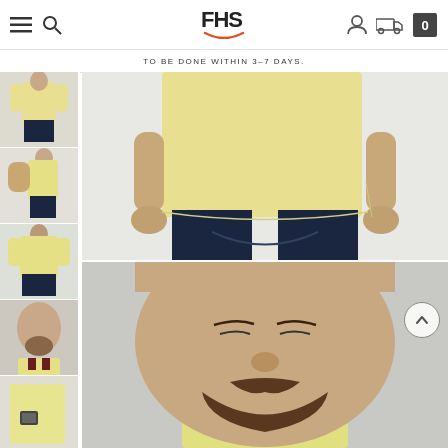[Figure (screenshot): E-commerce website header with hamburger menu, search icon, FHS logo, user account icon, shipping icon, and cart icon (showing 0)]
TO BE DONE WITHIN 3-7 DAYS.
[Figure (photo): Thumbnail 1: Man wearing yellow polo shirt, full body front view]
[Figure (photo): Thumbnail 2: Man wearing yellow polo shirt, side view showing left arm]
[Figure (photo): Thumbnail 3: Back view of yellow polo shirt]
[Figure (photo): Thumbnail 4: Close-up of man's face and collar detail of yellow polo shirt with burgundy trim]
[Figure (photo): Thumbnail 5: Close-up of chest pocket/badge detail of yellow polo shirt]
[Figure (photo): Thumbnail 6: Partial thumbnail of yellow polo shirt at bottom]
[Figure (photo): Main large image: Man wearing yellow polo shirt with navy trousers, torso and lower body, front view on grey/white background]
[Figure (photo): Second main image: Close-up of man's face with mustache and beard, wearing yellow polo shirt collar visible, looking down slightly]